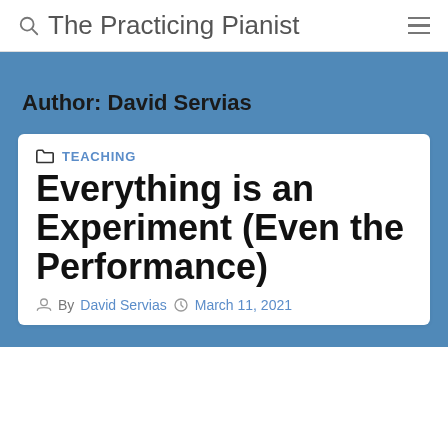The Practicing Pianist
Author: David Servias
TEACHING
Everything is an Experiment (Even the Performance)
By David Servias   March 11, 2021